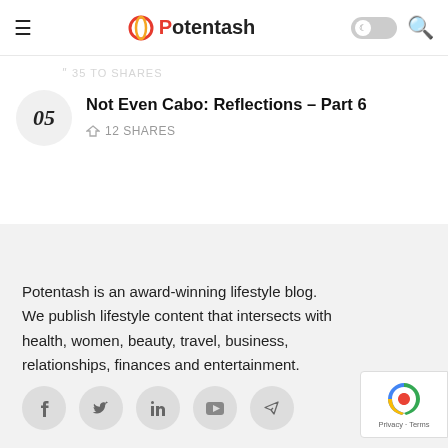Potentash
35 to SHARES
05 Not Even Cabo: Reflections – Part 6 · 12 SHARES
Potentash is an award-winning lifestyle blog. We publish lifestyle content that intersects with health, women, beauty, travel, business, relationships, finances and entertainment.